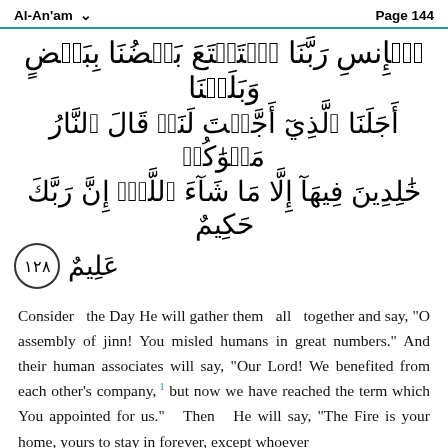Al-An'am    Page 144
Arabic Quranic verses (Surah Al-An'am, verse 128)
Consider  the Day He will gather them  all  together and say, “O assembly of jinn! You misled humans in great numbers.” And their human associates will say, “Our Lord! We benefited from each other’s company,¹ but now we have reached the term which You appointed for us.”  Then  He will say, “The Fire is your home, yours to stay in forever, except whoever